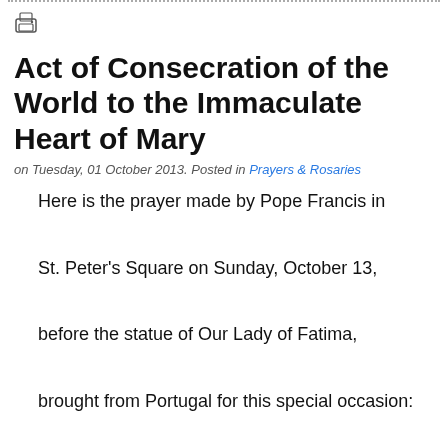[Figure (other): Printer icon]
Act of Consecration of the World to the Immaculate Heart of Mary
on Tuesday, 01 October 2013. Posted in Prayers & Rosaries
Here is the prayer made by Pope Francis in St. Peter's Square on Sunday, October 13, before the statue of Our Lady of Fatima, brought from Portugal for this special occasion: Blessed Virgin Mary of Fatima, with renewed gratitude for your motherly presence, we join in the voice of all generations that call you blessed. We celebrate in you the great works of God,